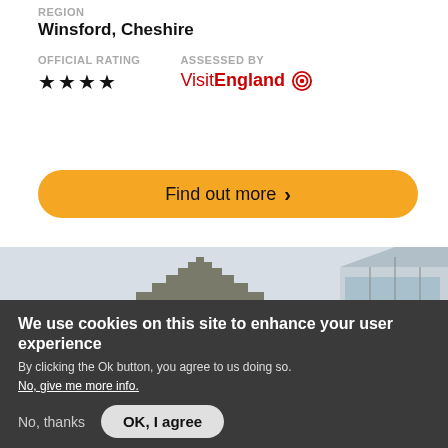REGION
Winsford, Cheshire
OFFICIAL RATING
ASSESSED BY
★★★★
VisitEngland
Find out more  >
[Figure (photo): Photo of a stone building with stepped gable roofline and a modern glass-roofed structure to the right, against a light sky]
We use cookies on this site to enhance your user experience
By clicking the Ok button, you agree to us doing so.
No, give me more info.
No, thanks
OK, I agree